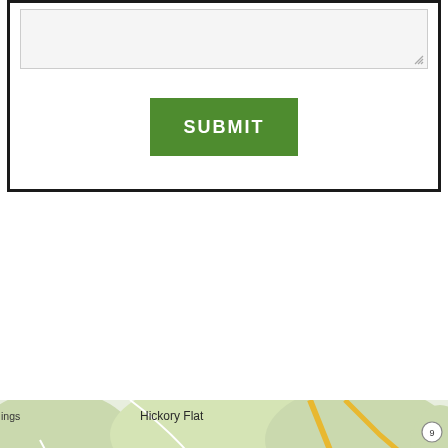[Figure (screenshot): Web form with a textarea input and a green SUBMIT button inside a thick black border box]
[Figure (map): Google Maps view showing Alpharetta, Milton, Roswell, Crabapple, Mountain Park, Willow Tree, Tomahawk, Hickory Flat, Westfield, and Johns Creek areas in Georgia with roads 372, 140, 9, 92, 120, 19 visible]